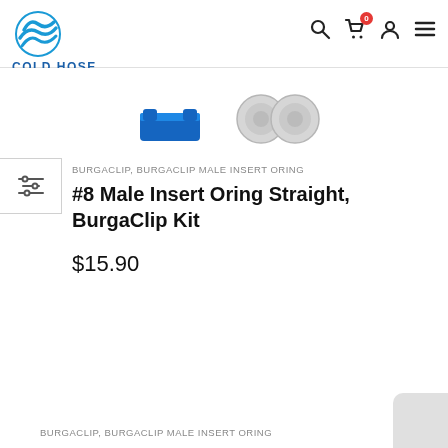[Figure (logo): Cold Hose logo with blue wave/swirl icon and COLD HOSE text in blue]
[Figure (screenshot): E-commerce website header with search, cart (badge 0), user, and menu icons]
[Figure (photo): Partial product images: blue BurgaClip fitting and silver oring fittings]
BURGACLIP, BURGACLIP MALE INSERT ORING
#8 Male Insert Oring Straight, BurgaClip Kit
$15.90
BURGACLIP, BURGACLIP MALE INSERT ORING